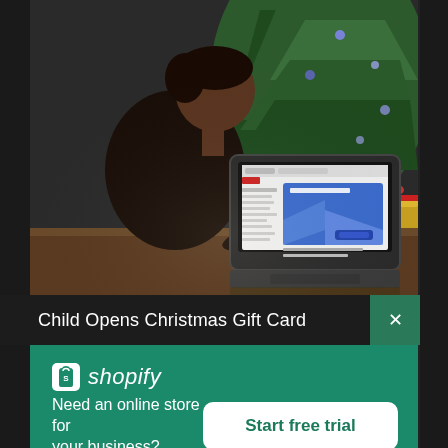[Figure (photo): A child (young Black child) sitting at a table looking at a laptop screen showing a Christmas gift card email. A Christmas tree is visible in the background. The scene has warm holiday lighting.]
Child Opens Christmas Gift Card
[Figure (logo): Shopify logo — white shopping bag icon with 'S' inside, followed by italic 'shopify' text in white]
Need an online store for your business?
Start free trial